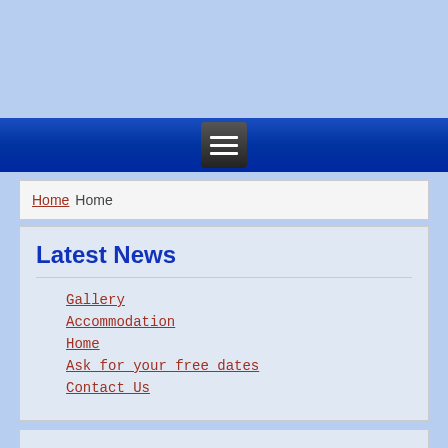[Figure (screenshot): Light blue banner area at top of webpage]
Navigation bar with hamburger menu button
Home  Home
Latest News
Gallery
Accommodation
Home
Ask for your free dates
Contact Us
Popular